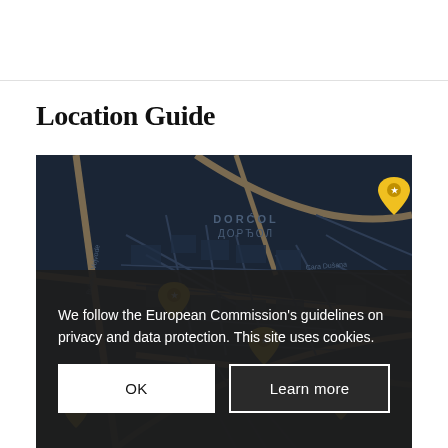Location Guide
[Figure (map): Dark blue street map of Belgrade showing Dorćol (ДОРЋОЛ) and Stari Grad (СТАРИ ГРАД) neighborhoods with yellow map pin markers indicating points of interest. Streets and landmarks are labeled in both Latin and Cyrillic script.]
We follow the European Commission's guidelines on privacy and data protection. This site uses cookies.